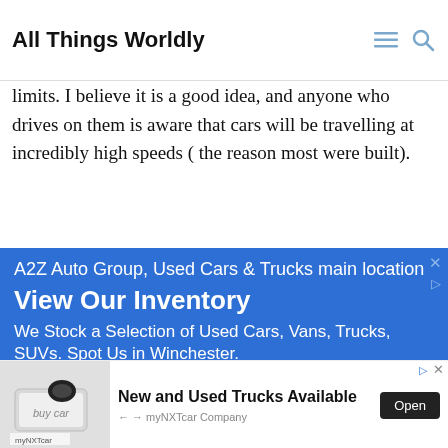All Things Worldly
On a final note: Germany has long had a partial solution to this problem, in the form of an autobahn. It is a highway without top speed limits. I believe it is a good idea, and anyone who drives on them is aware that cars will be travelling at incredibly high speeds ( the reason most were built).
[Figure (infographic): Blue advertisement banner for A2Z Auto Group, Used Cars & Trucks main location. Text reads: View Our Inventory - We Stock a Selection of Used Cars, Vans, Trucks, SUVs. Spot Us in Winchester.]
[Figure (infographic): Bottom advertisement banner for myNXTcar Company showing a car key on a keyboard with 'buy car' label. Text: New and Used Trucks Available. Open button on right.]